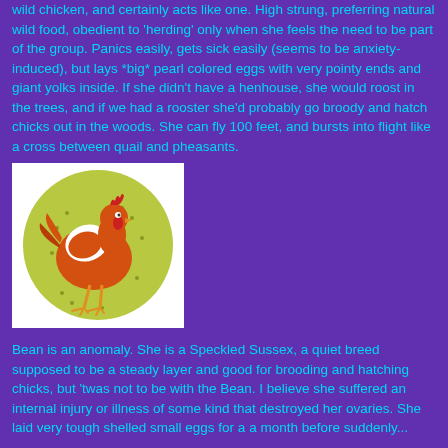wild chicken, and certainly acts like one.  High strung, preferring natural wild food, obedient to 'herding' only when she feels the need to be part of the group.  Panics easily, gets sick easily (seems to be anxiety-induced), but lays *big* pearl colored eggs with very pointy ends and giant yolks inside.  If she didn't have a henhouse, she would roost in the trees, and if we had a rooster she'd probably go broody and hatch chicks out in the woods.  She can fly 100 feet, and bursts into flight like a cross between quail and pheasants.
[Figure (illustration): Illustration of an orange/red hen on a yellow-green circular background with small dots]
Bean is an anomaly.  She is a Speckled Sussex, a quiet breed supposed to be a steady layer and good for brooding and hatching chicks, but 'twas not to be with the Bean.  I believe she suffered an internal injury or illness of some kind that destroyed her ovaries.  She laid very tough shelled small eggs for a a month before suddenly...